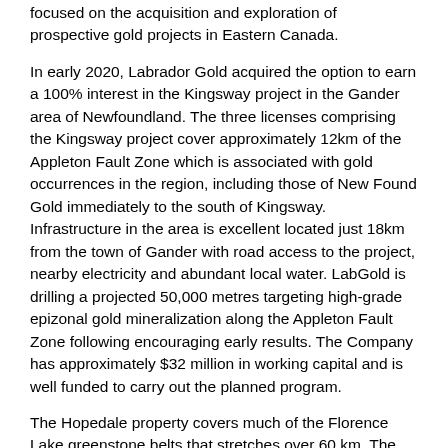focused on the acquisition and exploration of prospective gold projects in Eastern Canada.
In early 2020, Labrador Gold acquired the option to earn a 100% interest in the Kingsway project in the Gander area of Newfoundland. The three licenses comprising the Kingsway project cover approximately 12km of the Appleton Fault Zone which is associated with gold occurrences in the region, including those of New Found Gold immediately to the south of Kingsway. Infrastructure in the area is excellent located just 18km from the town of Gander with road access to the project, nearby electricity and abundant local water. LabGold is drilling a projected 50,000 metres targeting high-grade epizonal gold mineralization along the Appleton Fault Zone following encouraging early results. The Company has approximately $32 million in working capital and is well funded to carry out the planned program.
The Hopedale property covers much of the Florence Lake greenstone belts that stretches over 60 km. The belt is typical of greenstone belts around the world but has been underexplored by comparison. Work to date by Labrador Gold show gold anomalies in rocks, soils and lake sediments over a 3-kilometre section of the northern portion of the Florence Lake greenstone belt in the vicinity of the known Thurber Dog gold showing where grab samples